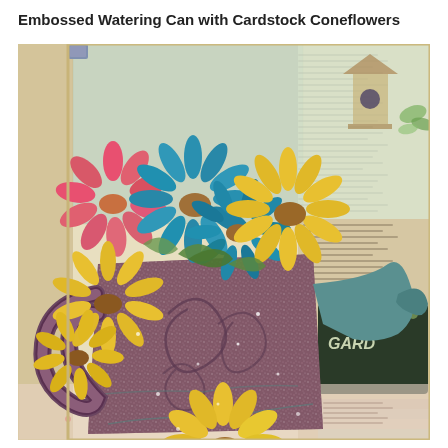Embossed Watering Can with Cardstock Coneflowers
[Figure (photo): Close-up craft art photo showing a decorative embossed watering can covered in glittery purple-brown textured paper with swirl embossing, filled with colorful cardstock coneflowers in pink, teal/blue, and yellow. Background features collage-style patterned papers with garden imagery, text ephemera, and a garden-themed card reading 'my GARDEN'. A yellow coneflower is visible at the bottom center.]